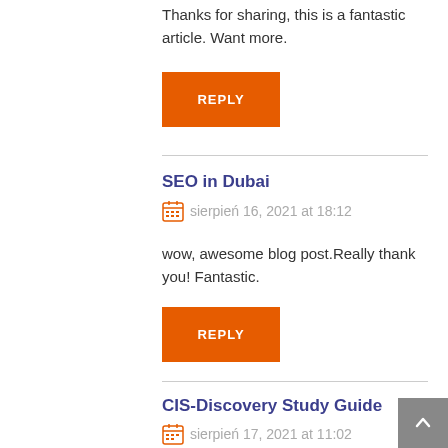Thanks for sharing, this is a fantastic article. Want more.
REPLY
SEO in Dubai
sierpień 16, 2021 at 18:12
wow, awesome blog post.Really thank you! Fantastic.
REPLY
CIS-Discovery Study Guide
sierpień 17, 2021 at 11:02
upon your web site and in accession capital to